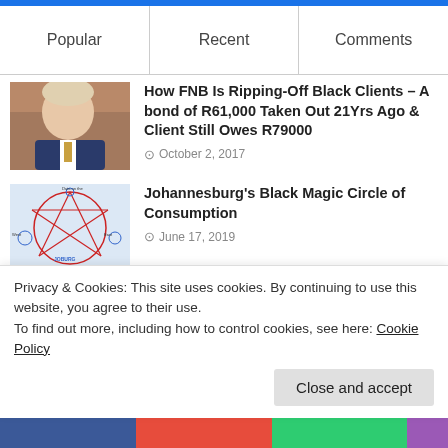Popular | Recent | Comments
How FNB Is Ripping-Off Black Clients – A bond of R61,000 Taken Out 21Yrs Ago & Client Still Owes R79000
October 2, 2017
Johannesburg's Black Magic Circle of Consumption
June 17, 2019
Related Open Letter To Mosiuoa
Privacy & Cookies: This site uses cookies. By continuing to use this website, you agree to their use.
To find out more, including how to control cookies, see here: Cookie Policy